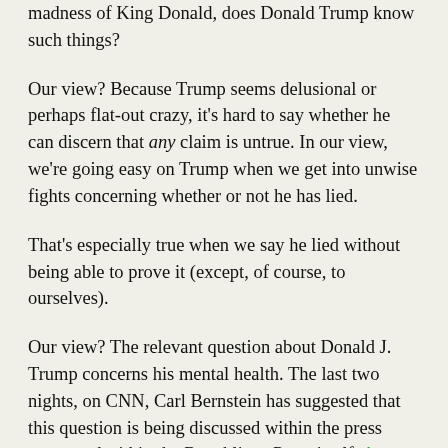madness of King Donald, does Donald Trump know such things?
Our view? Because Trump seems delusional or perhaps flat-out crazy, it's hard to say whether he can discern that any claim is untrue. In our view, we're going easy on Trump when we get into unwise fights concerning whether or not he has lied.
That's especially true when we say he lied without being able to prove it (except, of course, to ourselves).
Our view? The relevant question about Donald J. Trump concerns his mental health. The last two nights, on CNN, Carl Bernstein has suggested that this question is being discussed within the press corps and within the Republican Party itself. As we noted yesterday, we'd already received that impression from Nicholas Kristof's recent work.
What's the state of Trump's mental health? For example, is it possible that he's some version of "delusional?" (The word has been going around.)
We'll discuss that topic this afternoon. For now, we'll finish with